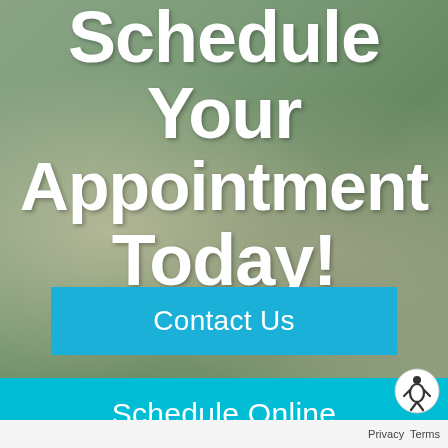[Figure (photo): Background photo of a smiling woman and a child outdoors on grass, with a semi-transparent dark green overlay. Text overlaid on the image.]
Schedule Your Appointment Today!
Contact Us
Schedule Online
Privacy Terms